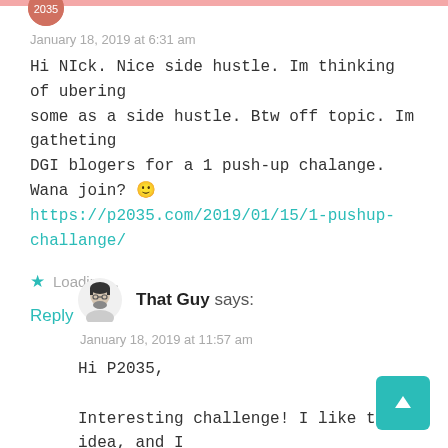January 18, 2019 at 6:31 am
Hi NIck. Nice side hustle. Im thinking of ubering some as a side hustle. Btw off topic. Im gatheting DGI blogers for a 1 push-up chalange. Wana join? 🙂 https://p2035.com/2019/01/15/1-pushup-challange/
Loading...
Reply
That Guy says:
January 18, 2019 at 11:57 am
Hi P2035,
Interesting challenge! I like the idea, and I understand the concept (once you're one the